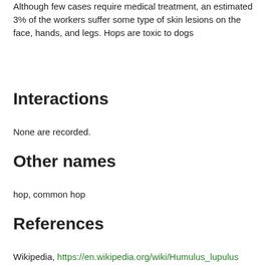Although few cases require medical treatment, an estimated 3% of the workers suffer some type of skin lesions on the face, hands, and legs. Hops are toxic to dogs
Interactions
None are recorded.
Other names
hop, common hop
References
Wikipedia, https://en.wikipedia.org/wiki/Humulus_lupulus